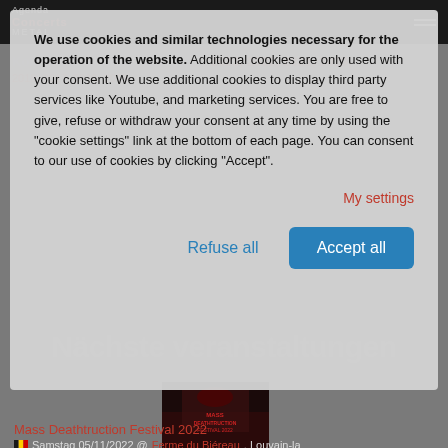Agenda Concerts METAL
Konzerte / Festivals nach Jahr : 2023, 2022, 2021, 2019, 2018, 2017, 2016, 2015
Nächste veranstaltungen
We use cookies and similar technologies necessary for the operation of the website. Additional cookies are only used with your consent. We use additional cookies to display third party services like Youtube, and marketing services. You are free to give, refuse or withdraw your consent at any time by using the "cookie settings" link at the bottom of each page. You can consent to our use of cookies by clicking "Accept".
My settings
Refuse all
Accept all
[Figure (photo): Event poster for Mass Deathtruction Festival 2022, dark themed concert poster]
Mass Deathtruction Festival 2022
Samstag 05/11/2022 @ Ferme du Biéreau, Louvain-la